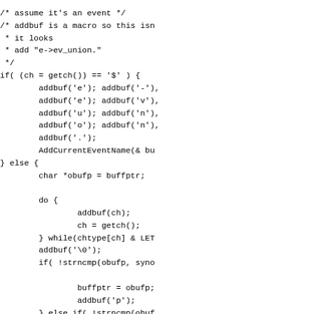/* assume it's an event */
/* addbuf is a macro so this isn
 * it looks
 * add "e->ev_union."
 */
if( (ch = getch()) == '$' ) {
        addbuf('e'); addbuf('-'),
        addbuf('e'); addbuf('v'),
        addbuf('u'); addbuf('n'),
        addbuf('o'); addbuf('n'),
        addbuf('.');
        AddCurrentEventName(& bu
} else {
        char *obufp = buffptr;

        do {
                addbuf(ch);
                ch = getch();
        } while(chtype[ch] & LET
        addbuf('\0');
        if( !strncmp(obufp, syno

                buffptr = obufp;
                addbuf('p');
        } else if( !strncmp(obuf

                buffptr = obufp;
                addbuf('e');
        } else {
                fprintf(stdou